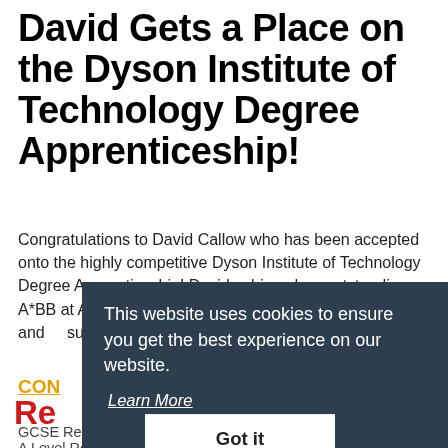David Gets a Place on the Dyson Institute of Technology Degree Apprenticeship!
Congratulations to David Callow who has been accepted onto the highly competitive Dyson Institute of Technology Degree Apprenticeship! David achieved an outstanding A*BB at A-Level. He is extremely happy with his results and [text obscured by cookie banner] supp[ort...] enjoy[...]
CON[TINUE READING...] (link, partially visible)
[Figure (screenshot): Cookie consent banner overlay with dark navy background. Text reads: 'This website uses cookies to ensure you get the best experience on our website.' with a 'Learn More' underlined link and a 'Got it' button in white below.]
Re[cent News - partially visible red heading]
GCSE Results Day 2022
A Level Results Day 2022